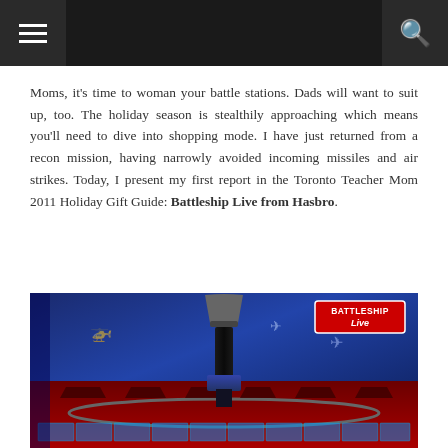Navigation menu and search bar
Moms, it's time to woman your battle stations. Dads will want to suit up, too. The holiday season is stealthily approaching which means you'll need to dive into shopping mode. I have just returned from a recon mission, having narrowly avoided incoming missiles and air strikes. Today, I present my first report in the Toronto Teacher Mom 2011 Holiday Gift Guide: Battleship Live from Hasbro.
[Figure (photo): Photo of the Battleship Live board game by Hasbro, showing the game board with a central electronic tower device, ship icons, a grid of blue cells, and the Battleship Live logo in the upper right corner.]